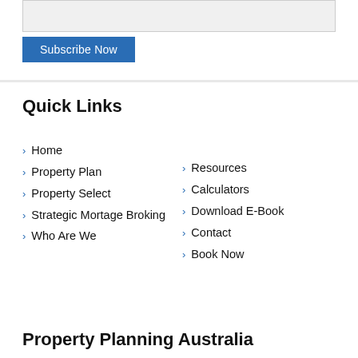[Figure (other): Input field box (grey/white) at the top of the page]
Subscribe Now
Quick Links
Home
Property Plan
Property Select
Strategic Mortage Broking
Who Are We
Resources
Calculators
Download E-Book
Contact
Book Now
Property Planning Australia